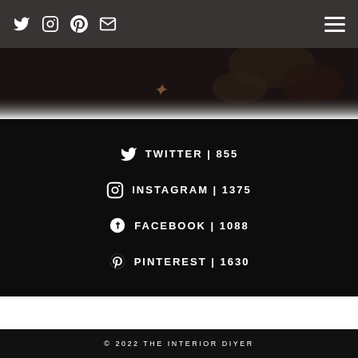Social media icons: Twitter, Instagram, Pinterest, Email; Hamburger menu
[Figure (illustration): Dark floral/botanical decorative image with warm brown tones, partially visible at top]
TWITTER | 855
INSTAGRAM | 1375
FACEBOOK | 1088
PINTEREST | 1630
© 2022 THE INTERIOR DIYER